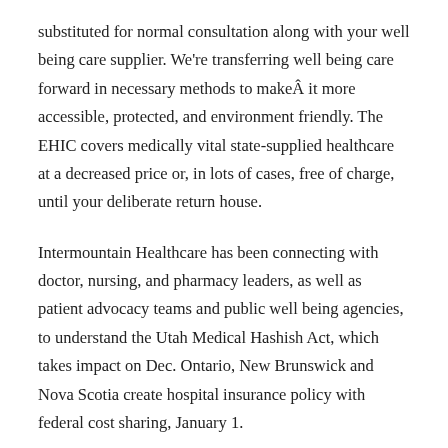substituted for normal consultation along with your well being care supplier. We're transferring well being care forward in necessary methods to makeÂ it more accessible, protected, and environment friendly. The EHIC covers medically vital state-supplied healthcare at a decreased price or, in lots of cases, free of charge, until your deliberate return house.
Intermountain Healthcare has been connecting with doctor, nursing, and pharmacy leaders, as well as patient advocacy teams and public well being agencies, to understand the Utah Medical Hashish Act, which takes impact on Dec. Ontario, New Brunswick and Nova Scotia create hospital insurance policy with federal cost sharing, January 1.
Secondary health care services may be supplied within the house or neighborhood and in institutions (largely lengthy-tions, air back, housing, etc.). The interpretation disclaimer...